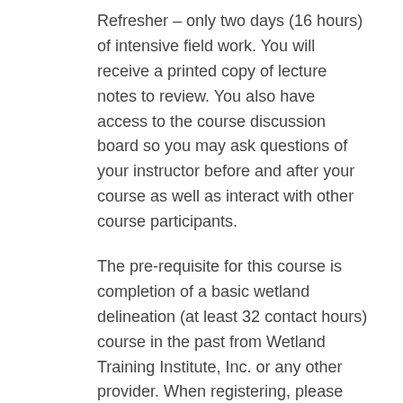Refresher – only two days (16 hours) of intensive field work. You will receive a printed copy of lecture notes to review. You also have access to the course discussion board so you may ask questions of your instructor before and after your course as well as interact with other course participants.
The pre-requisite for this course is completion of a basic wetland delineation (at least 32 contact hours) course in the past from Wetland Training Institute, Inc. or any other provider. When registering, please identify the date, location and provider of the course in the comments/notes box.
You will receive via mail materials you should review prior to your refresher course dates. These include: printed Lecture Notes, a Pocket Guide to Hydric Soil Field Indicators, and a USB drive containing current 1987 Wetland Delineation Manual, Regional